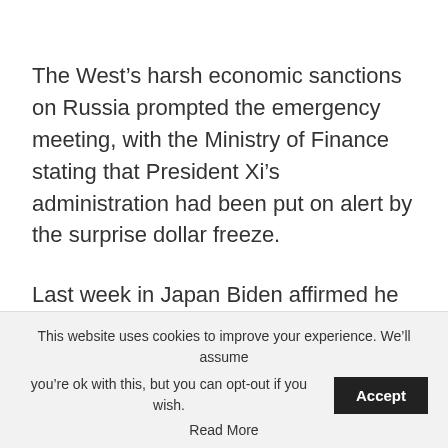The West's harsh economic sanctions on Russia prompted the emergency meeting, with the Ministry of Finance stating that President Xi's administration had been put on alert by the surprise dollar freeze.
Last week in Japan Biden affirmed he would be willing to get involved militarily if China invaded Taiwan – drawing parallels between that threat
This website uses cookies to improve your experience. We'll assume you're ok with this, but you can opt-out if you wish. Accept Read More